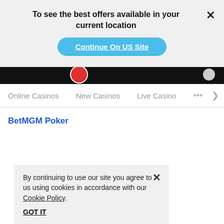To see the best offers available in your current location
Continue On US Site
[Figure (screenshot): Dark navigation banner with a red and white poker chip icon and a gray circle on the right]
Online Casinos   New Casinos   Live Casino   >
BetMGM Poker
By continuing to use our site you agree to us using cookies in accordance with our Cookie Policy.
GOT IT
Highest Paying Online Casinos